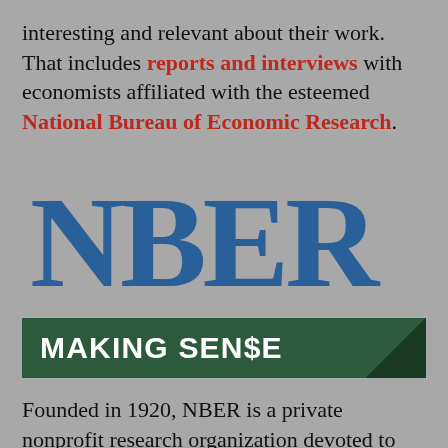interesting and relevant about their work. That includes reports and interviews with economists affiliated with the esteemed National Bureau of Economic Research.
[Figure (logo): NBER logo showing large blue block letters 'NBER' and underneath 'National Bureau of Economic Research' text, with a 'MAKING SEN$E' green banner below]
Founded in 1920, NBER is a private nonprofit research organization devoted to objective study of the American economy. It is...